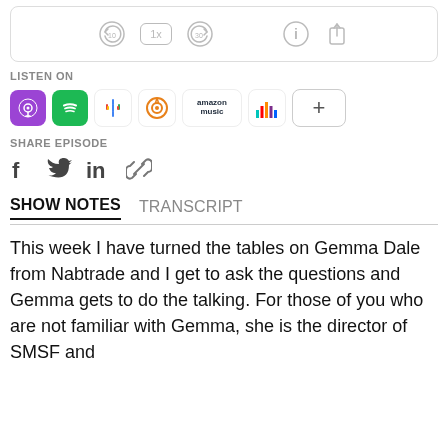[Figure (screenshot): Podcast player controls bar with rewind 10s, 1x speed, forward 30s, info, and share icons]
LISTEN ON
[Figure (infographic): Platform icons: Apple Podcasts, Spotify, Google Podcasts, Overcast, Amazon Music, Deezer, and a + more button]
SHARE EPISODE
[Figure (infographic): Social share icons: Facebook, Twitter, LinkedIn, and link icon]
SHOW NOTES  TRANSCRIPT
This week I have turned the tables on Gemma Dale from Nabtrade and I get to ask the questions and Gemma gets to do the talking. For those of you who are not familiar with Gemma, she is the director of SMSF and